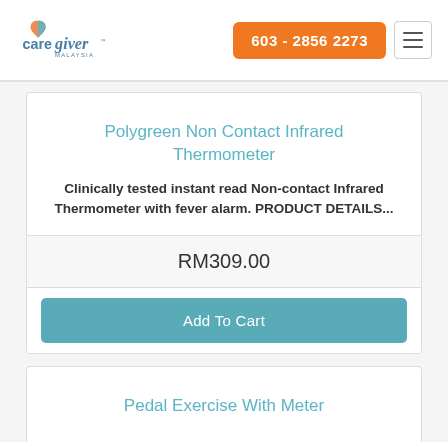care giver MALAYSIA  603 - 2856 2273
Polygreen Non Contact Infrared Thermometer
Clinically tested instant read Non-contact Infrared Thermometer with fever alarm. PRODUCT DETAILS...
RM309.00
Add To Cart
Pedal Exercise With Meter